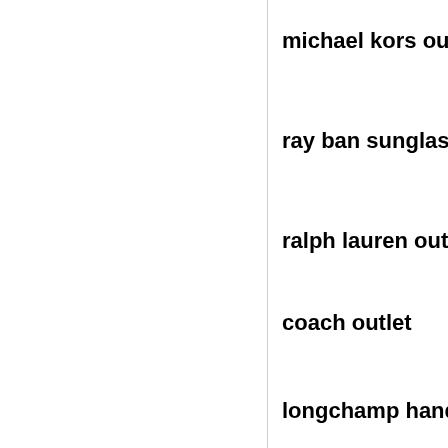michael kors outl
ray ban sunglasse
ralph lauren outl
coach outlet
longchamp handl